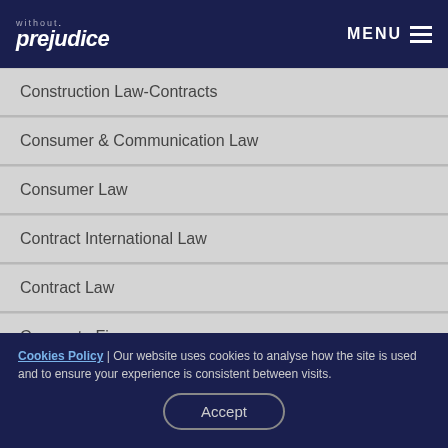without prejudice | MENU
Construction Law-Contracts
Consumer & Communication Law
Consumer Law
Contract International Law
Contract Law
Corporate Finance
Corruption
Cookies Policy | Our website uses cookies to analyse how the site is used and to ensure your experience is consistent between visits.
Accept